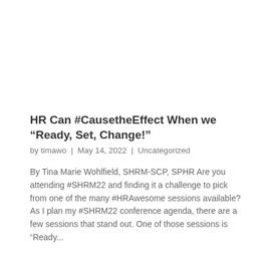HR Can #CausetheEffect When we “Ready, Set, Change!”
by timawo | May 14, 2022 | Uncategorized
By Tina Marie Wohlfield, SHRM-SCP, SPHR Are you attending #SHRM22 and finding it a challenge to pick from one of the many #HRAwesome sessions available?  As I plan my #SHRM22 conference agenda, there are a few sessions that stand out. One of those sessions is “Ready...